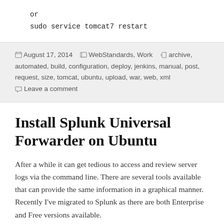or
sudo service tomcat7 restart
August 17, 2014  WebStandards, Work  archive, automated, build, configuration, deploy, jenkins, manual, post, request, size, tomcat, ubuntu, upload, war, web, xml  Leave a comment
Install Splunk Universal Forwarder on Ubuntu
After a while it can get tedious to access and review server logs via the command line. There are several tools available that can provide the same information in a graphical manner. Recently I've migrated to Splunk as there are both Enterprise and Free versions available.